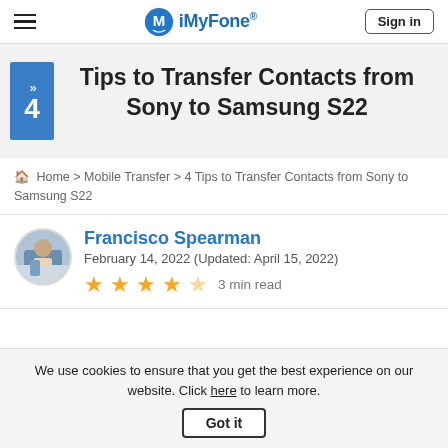iMyFone® | Sign in
4 Tips to Transfer Contacts from Sony to Samsung S22
Home > Mobile Transfer > 4 Tips to Transfer Contacts from Sony to Samsung S22
Francisco Spearman
February 14, 2022 (Updated: April 15, 2022)
★★★★½ 3 min read
We use cookies to ensure that you get the best experience on our website. Click here to learn more. Got it